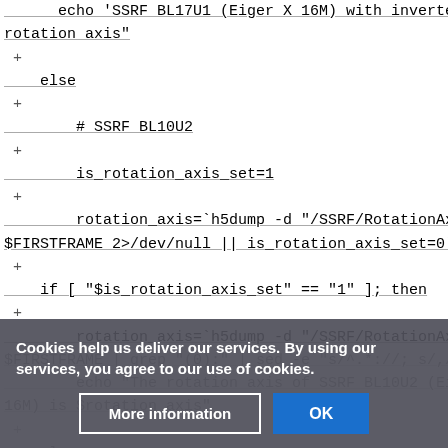echo 'SSRF BL17U1 (Eiger X 16M) with inverted rotation axis"
+
else
+
# SSRF BL10U2
+
is_rotation_axis_set=1
+
rotation_axis=`h5dump -d "/SSRF/RotationAxis" $FIRSTFRAME 2>/dev/null || is_rotation_axis_set=0`
+
if [ "$is_rotation_axis_set" == "1" ]; then
+
rotation_axis=`h5dump -d "/SSRF/RotationAxis" $FIRSTFRAME | grep "(0):" | sed -e "s/^.*://; s/,//g"`
+
echo "The rotation axis of SSRF BL10U2 (Eiger X 16M) is $rotation_axis"
+
else